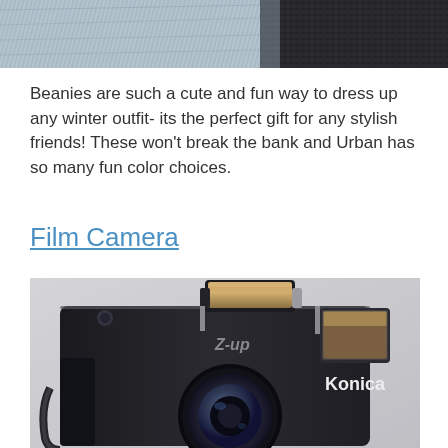[Figure (photo): Close-up photo of a beanie hat, dark colored, showing texture of fabric]
Beanies are such a cute and fun way to dress up any winter outfit- its the perfect gift for any stylish friends! These won't break the bank and Urban has so many fun color choices.
Film Camera
[Figure (photo): Close-up photo of a Konica Z-up film camera with flash unit raised, Konica Lens visible]